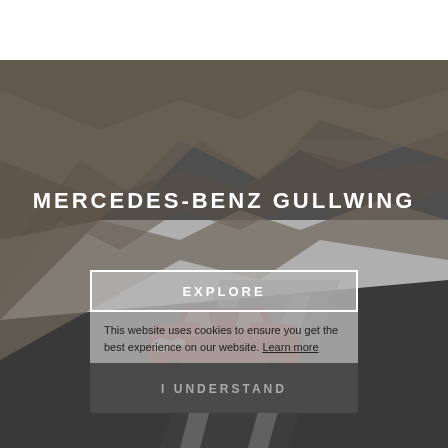[Figure (photo): White top navigation bar over a dramatic photograph of a red Mercedes-Benz Gullwing sports car driving on a road with rocky mountain/canyon scenery in the background under a dark grey sky.]
MERCEDES-BENZ GULLWING
EXPLORE
This website uses cookies to ensure you get the best experience on our website. Learn more
I UNDERSTAND